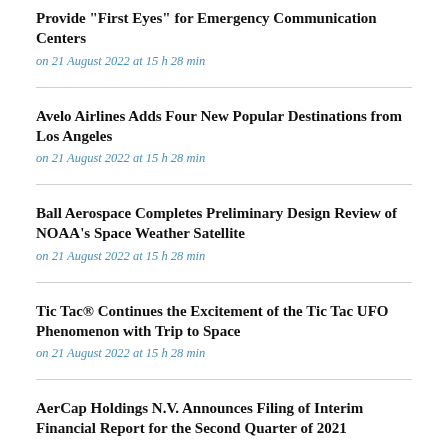Provide "First Eyes" for Emergency Communication Centers
on 21 August 2022 at 15 h 28 min
Avelo Airlines Adds Four New Popular Destinations from Los Angeles
on 21 August 2022 at 15 h 28 min
Ball Aerospace Completes Preliminary Design Review of NOAA's Space Weather Satellite
on 21 August 2022 at 15 h 28 min
Tic Tac® Continues the Excitement of the Tic Tac UFO Phenomenon with Trip to Space
on 21 August 2022 at 15 h 28 min
AerCap Holdings N.V. Announces Filing of Interim Financial Report for the Second Quarter of 2021